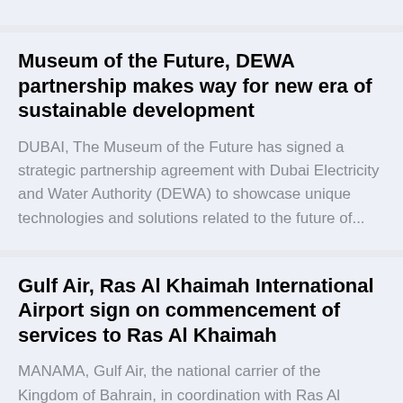Museum of the Future, DEWA partnership makes way for new era of sustainable development
DUBAI, The Museum of the Future has signed a strategic partnership agreement with Dubai Electricity and Water Authority (DEWA) to showcase unique technologies and solutions related to the future of...
Gulf Air, Ras Al Khaimah International Airport sign on commencement of services to Ras Al Khaimah
MANAMA, Gulf Air, the national carrier of the Kingdom of Bahrain, in coordination with Ras Al Khaimah International Airport (RAKIA) to...